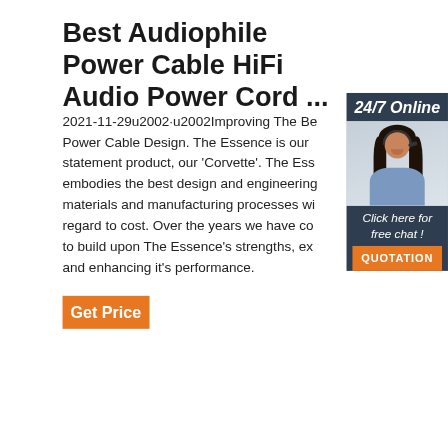Best Audiophile Power Cable HiFi Audio Power Cord ...
2021-11-29u2002·u2002Improving The Best Power Cable Design. The Essence is our statement product, our 'Corvette'. The Ess embodies the best design and engineering materials and manufacturing processes wi regard to cost. Over the years we have co to build upon The Essence's strengths, ex and enhancing it's performance.
[Figure (photo): Customer service representative woman wearing headset, with '24/7 Online' header and 'Click here for free chat!' text, and orange QUOTATION button]
Get Price